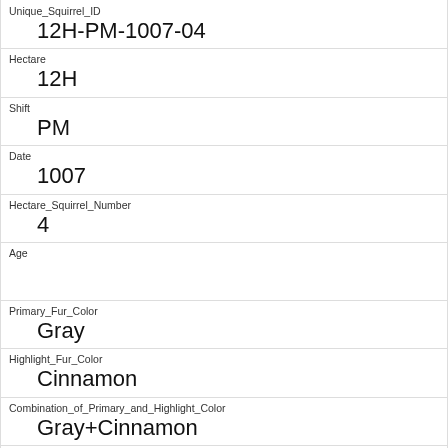| Field | Value |
| --- | --- |
| Unique_Squirrel_ID | 12H-PM-1007-04 |
| Hectare | 12H |
| Shift | PM |
| Date | 1007 |
| Hectare_Squirrel_Number | 4 |
| Age |  |
| Primary_Fur_Color | Gray |
| Highlight_Fur_Color | Cinnamon |
| Combination_of_Primary_and_Highlight_Color | Gray+Cinnamon |
| Color_notes |  |
| Location |  |